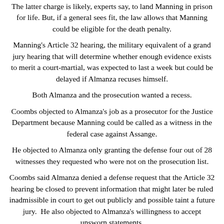The latter charge is likely, experts say, to land Manning in prison for life. But, if a general sees fit, the law allows that Manning could be eligible for the death penalty.
Manning's Article 32 hearing, the military equivalent of a grand jury hearing that will determine whether enough evidence exists to merit a court-martial, was expected to last a week but could be delayed if Almanza recuses himself.
Both Almanza and the prosecution wanted a recess.
Coombs objected to Almanza's job as a prosecutor for the Justice Department because Manning could be called as a witness in the federal case against Assange.
He objected to Almanza only granting the defense four out of 28 witnesses they requested who were not on the prosecution list.
Coombs said Almanza denied a defense request that the Article 32 hearing be closed to prevent information that might later be ruled inadmissible in court to get out publicly and possible taint a future jury.  He also objected to Almanza's willingness to accept unsworn statements.
Manning had been held at Fort Leavenworth prison in Kansas and